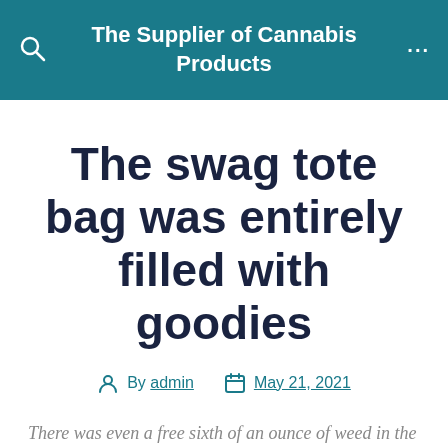The Supplier of Cannabis Products
The swag tote bag was entirely filled with goodies
By admin  May 21, 2021
There was even a free sixth of an ounce of weed in the bag